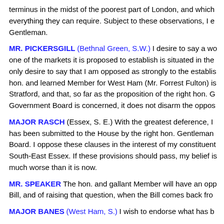terminus in the midst of the poorest part of London, and which everything they can require. Subject to these observations, I e Gentleman.
MR. PICKERSGILL (Bethnal Green, S.W.) I desire to say a wo one of the markets it is proposed to establish is situated in the only desire to say that I am opposed as strongly to the establis hon. and learned Member for West Ham (Mr. Forrest Fulton) is Stratford, and that, so far as the proposition of the right hon. G Government Board is concerned, it does not disarm the oppos
MAJOR RASCH (Essex, S. E.) With the greatest deference, I has been submitted to the House by the right hon. Gentleman Board. I oppose these clauses in the interest of my constituent South-East Essex. If these provisions should pass, my belief is much worse than it is now.
MR. SPEAKER The hon. and gallant Member will have an opp Bill, and of raising that question, when the Bill comes back fro
MAJOR BANES (West Ham, S.) I wish to endorse what has b